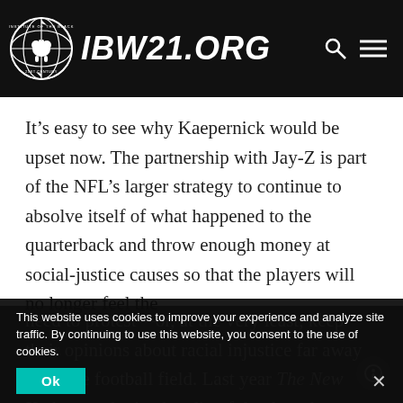IBW21.ORG
It’s easy to see why Kaepernick would be upset now. The partnership with Jay-Z is part of the NFL’s larger strategy to continue to absolve itself of what happened to the quarterback and throw enough money at social-justice causes so that the players will no longer feel the need to protest—or, at the very least, keep their opinions about racial injustice far away from the football field. Last year The New York Times obtained audio of the three-hour meeting that took
This website uses cookies to improve your experience and analyze site traffic. By continuing to use this website, you consent to the use of cookies.